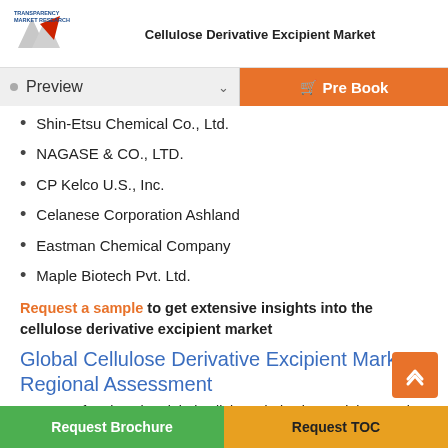Cellulose Derivative Excipient Market
Shin-Etsu Chemical Co., Ltd.
NAGASE & CO., LTD.
CP Kelco U.S., Inc.
Celanese Corporation Ashland
Eastman Chemical Company
Maple Biotech Pvt. Ltd.
Request a sample to get extensive insights into the cellulose derivative excipient market
Global Cellulose Derivative Excipient Market: Regional Assessment
In terms of region, the global cellulose derivative excipient market shows existence in many regions including North America, Europe, Asia Pacific, the Middle East and Africa, and South and Central
Request Brochure    Request TOC